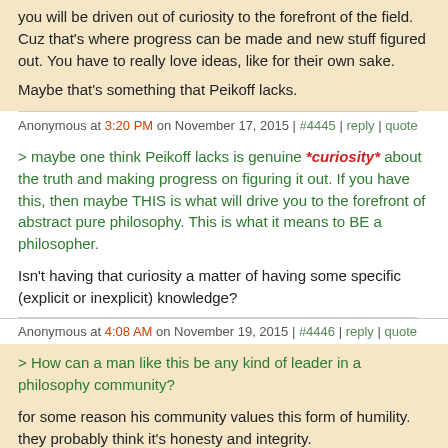you will be driven out of curiosity to the forefront of the field. Cuz that's where progress can be made and new stuff figured out. You have to really love ideas, like for their own sake.
Maybe that's something that Peikoff lacks.
Anonymous at 3:20 PM on November 17, 2015 | #4445 | reply | quote
> maybe one think Peikoff lacks is genuine *curiosity* about the truth and making progress on figuring it out. If you have this, then maybe THIS is what will drive you to the forefront of abstract pure philosophy. This is what it means to BE a philosopher.
Isn't having that curiosity a matter of having some specific (explicit or inexplicit) knowledge?
Anonymous at 4:08 AM on November 19, 2015 | #4446 | reply | quote
> How can a man like this be any kind of leader in a philosophy community?
for some reason his community values this form of humility. they probably think it's honesty and integrity.
there's some core mistake in Ayn Rand's writing attracting bad people. you should put an effort in figuring it out. perhaps the danger